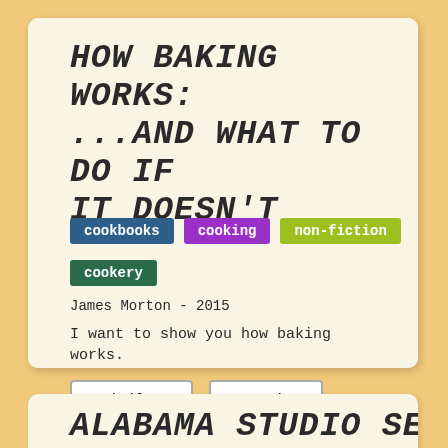How Baking Works: ...And What To Do If It Doesn't
cookbooks
cooking
non-fiction
cookery
James Morton - 2015
I want to show you how baking works.
Similar
Get it
Alabama Studio Sewing